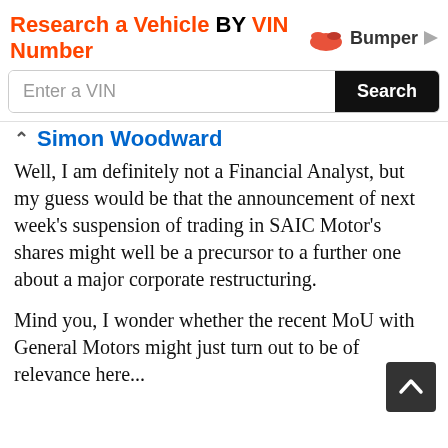[Figure (screenshot): Advertisement banner: 'Research a Vehicle BY VIN Number' with Bumper logo, VIN input field, and Search button]
Simon Woodward
Well, I am definitely not a Financial Analyst, but my guess would be that the announcement of next week's suspension of trading in SAIC Motor's shares might well be a precursor to a further one about a major corporate restructuring.
Mind you, I wonder whether the recent MoU with General Motors might just turn out to be of relevance here...